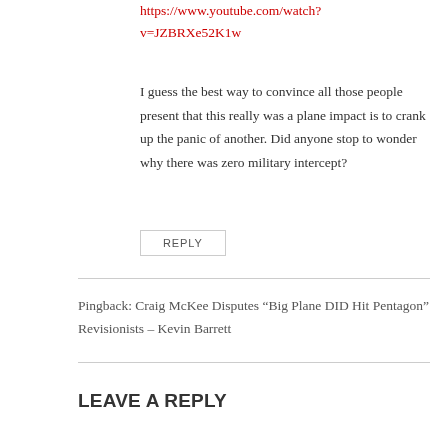https://www.youtube.com/watch?v=JZBRXe52K1w
I guess the best way to convince all those people present that this really was a plane impact is to crank up the panic of another. Did anyone stop to wonder why there was zero military intercept?
REPLY
Pingback: Craig McKee Disputes “Big Plane DID Hit Pentagon” Revisionists – Kevin Barrett
LEAVE A REPLY